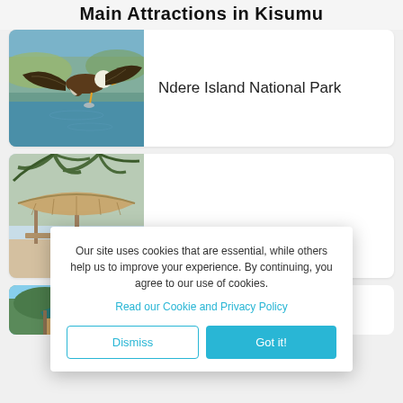Main Attractions in Kisumu
[Figure (photo): African fish eagle in flight over water]
Ndere Island National Park
[Figure (photo): Beach hut / thatched shelter on sandy beach with palm trees]
Our site uses cookies that are essential, while others help us to improve your experience. By continuing, you agree to our use of cookies.
Read our Cookie and Privacy Policy
Dismiss
Got it!
[Figure (photo): Traditional thatched-roof hut with blue roof]
Kisumu Museum